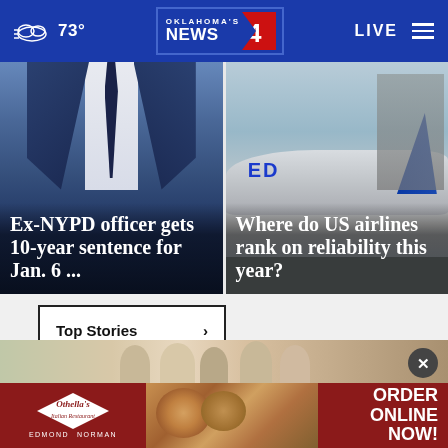73° | Oklahoma's News 4 | LIVE
[Figure (photo): Person in a dark navy suit and tie, upper body visible, no face shown]
Ex-NYPD officer gets 10-year sentence for Jan. 6 ...
[Figure (photo): United Airlines plane at airport gate on tarmac]
Where do US airlines rank on reliability this year?
Top Stories >
[Figure (photo): Othella's Italian Restaurant advertisement banner — Edmond and Norman locations — Order Online Now!]